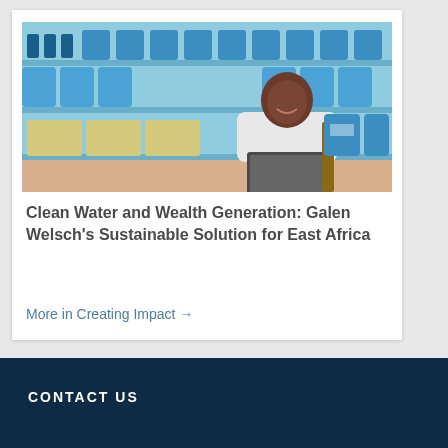[Figure (photo): A woman in a white shirt sitting behind a counter with a laptop, surrounded by shelves stocked with blue water jugs and water bottles]
Clean Water and Wealth Generation: Galen Welsch’s Sustainable Solution for East Africa
More in Creating Impact →
CONTACT US